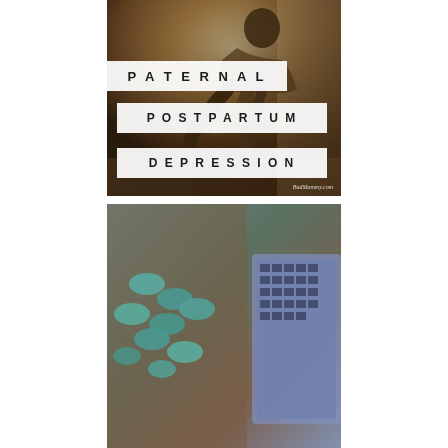[Figure (photo): Sepia-toned photo of a man sitting alone, leaning against a wall, looking downward in a contemplative or sad pose. Text overlays read 'PATERNAL POSTPARTUM DEPRESSION' in bold white-background boxes. Watermark reads 'BadMammy.com'.]
[Figure (photo): Photo showing teal/green pills or candies scattered on a wooden surface next to a laptop keyboard, partially visible.]